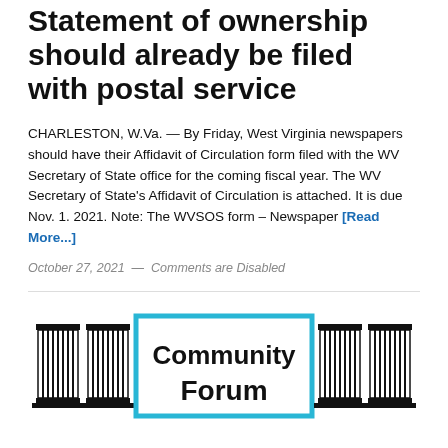Statement of ownership should already be filed with postal service
CHARLESTON, W.Va. — By Friday, West Virginia newspapers should have their Affidavit of Circulation form filed with the WV Secretary of State office for the coming fiscal year. The WV Secretary of State's Affidavit of Circulation is attached. It is due Nov. 1. 2021. Note: The WVSOS form – Newspaper [Read More...]
October 27, 2021  —  Comments are Disabled
[Figure (illustration): Community Forum logo with two classical Greek/Roman columns on each side and a cyan-bordered rectangle in the center with bold text reading 'Community Forum']